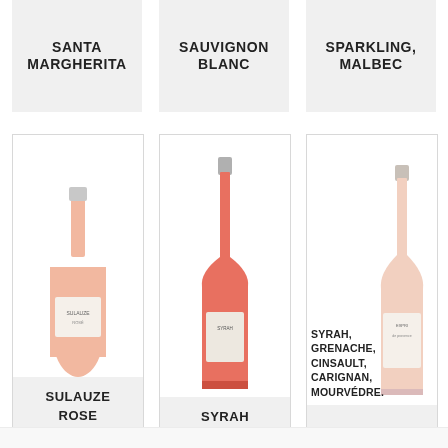SANTA MARGHERITA
SAUVIGNON BLANC
SPARKLING, MALBEC
[Figure (photo): Partial view of a rosé wine bottle - Sulauze Rosé]
SULAUZE ROSE
[Figure (photo): Full rosé/red wine bottle - Syrah]
SYRAH
[Figure (photo): Partial view of a rosé wine bottle with Esprit label]
SYRAH, GRENACHE, CINSAULT, CARIGNAN, MOURVÉDRE.